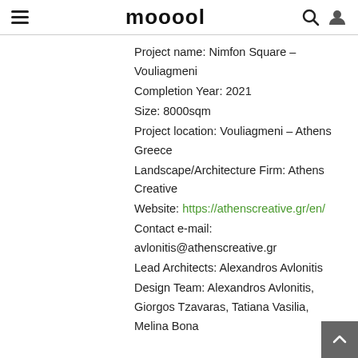mooool
Project name: Nimfon Square – Vouliagmeni
Completion Year: 2021
Size: 8000sqm
Project location: Vouliagmeni – Athens Greece
Landscape/Architecture Firm: Athens Creative
Website: https://athenscreative.gr/en/
Contact e-mail: avlonitis@athenscreative.gr
Lead Architects: Alexandros Avlonitis
Design Team: Alexandros Avlonitis, Giorgos Tzavaras, Tatiana Vasilia, Melina Bona